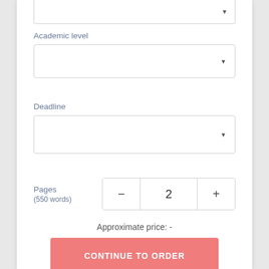Academic level
Deadline
Pages
(550 words)
Approximate price: -
CONTINUE TO ORDER